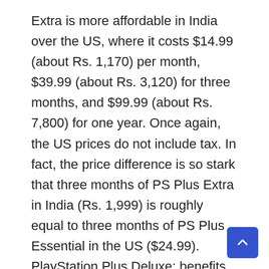Extra is more affordable in India over the US, where it costs $14.99 (about Rs. 1,170) per month, $39.99 (about Rs. 3,120) for three months, and $99.99 (about Rs. 7,800) for one year. Once again, the US prices do not include tax. In fact, the price difference is so stark that three months of PS Plus Extra in India (Rs. 1,999) is roughly equal to three months of PS Plus Essential in the US ($24.99). PlayStation Plus Deluxe: benefits and price in India And that leaves us with the third and top tier, which has a dual identity. First, let's get into the benefits. Over and beyond everything we've already listed on Essential and Extra, PS Plus Deluxe gives you access to limited trials — varying from one to three hours — for some of the latest games, such as Horizon Forbidden